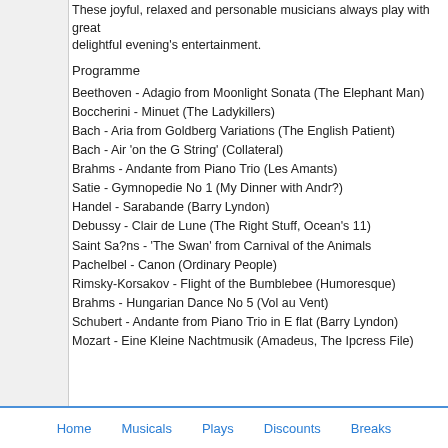These joyful, relaxed and personable musicians always play with great delightful evening's entertainment.
Programme
Beethoven - Adagio from Moonlight Sonata (The Elephant Man)
Boccherini - Minuet (The Ladykillers)
Bach - Aria from Goldberg Variations (The English Patient)
Bach - Air 'on the G String' (Collateral)
Brahms - Andante from Piano Trio (Les Amants)
Satie - Gymnopedie No 1 (My Dinner with Andr?)
Handel - Sarabande (Barry Lyndon)
Debussy - Clair de Lune (The Right Stuff, Ocean's 11)
Saint Sa?ns - 'The Swan' from Carnival of the Animals
Pachelbel - Canon (Ordinary People)
Rimsky-Korsakov - Flight of the Bumblebee (Humoresque)
Brahms - Hungarian Dance No 5 (Vol au Vent)
Schubert - Andante from Piano Trio in E flat (Barry Lyndon)
Mozart - Eine Kleine Nachtmusik (Amadeus, The Ipcress File)
Home   Musicals   Plays   Discounts   Breaks